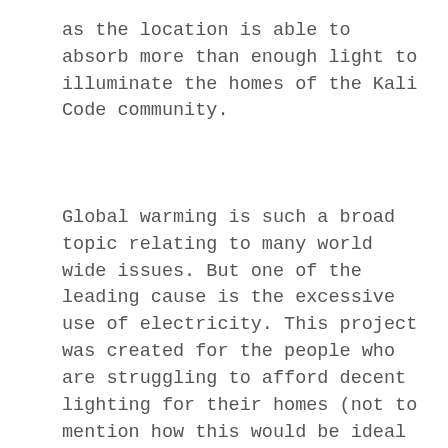as the location is able to absorb more than enough light to illuminate the homes of the Kali Code community.
Global warming is such a broad topic relating to many world wide issues. But one of the leading cause is the excessive use of electricity. This project was created for the people who are struggling to afford decent lighting for their homes (not to mention how this would be ideal for situations such as blackouts), but if this is applied globally at all households, although very unlikely to happen, imagine how much money and energy we could save altogether.